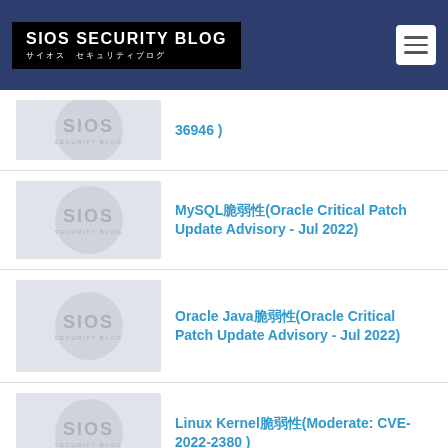SIOS SECURITY BLOG サイオス セキュリティブログ
36946 )
MySQL脆弱性(Oracle Critical Patch Update Advisory - Jul 2022)
Oracle Java脆弱性(Oracle Critical Patch Update Advisory - Jul 2022)
Linux Kernel脆弱性(Moderate: CVE-2022-2380 )